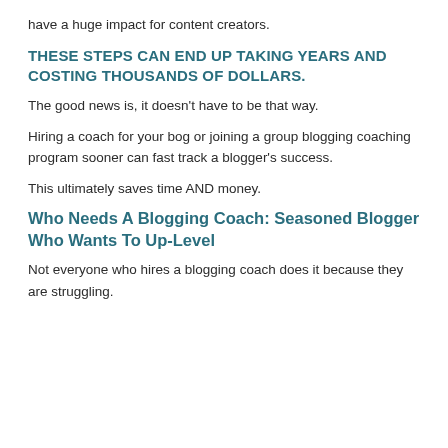have a huge impact for content creators.
THESE STEPS CAN END UP TAKING YEARS AND COSTING THOUSANDS OF DOLLARS.
The good news is, it doesn't have to be that way.
Hiring a coach for your bog or joining a group blogging coaching program sooner can fast track a blogger's success.
This ultimately saves time AND money.
Who Needs A Blogging Coach: Seasoned Blogger Who Wants To Up-Level
Not everyone who hires a blogging coach does it because they are struggling.